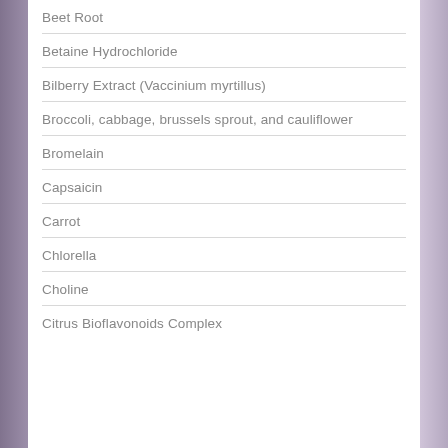Beet Root
Betaine Hydrochloride
Bilberry Extract (Vaccinium myrtillus)
Broccoli, cabbage, brussels sprout, and cauliflower
Bromelain
Capsaicin
Carrot
Chlorella
Choline
Citrus Bioflavonoids Complex